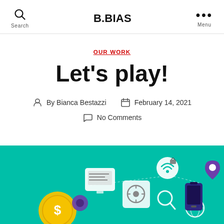B.BIAS
OUR WORK
Let's play!
By Bianca Bestazzi  February 14, 2021  No Comments
[Figure (illustration): Teal background illustration showing fintech/digital icons: coin with dollar sign, steering wheel/safe icon, monitor with text, gear, wifi/lock icon, search magnifier, globe icon, smartphone, and location pin connected by dotted lines]